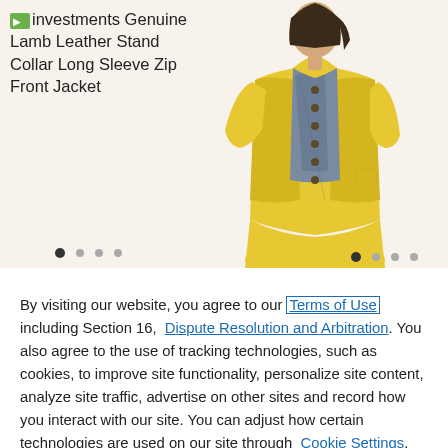[Figure (photo): Woman wearing a yellow long-sleeve jacket with button details over a patterned top, paired with a yellow skirt. Product photo for a fashion retail website.]
investments Genuine Lamb Leather Stand Collar Long Sleeve Zip Front Jacket
By visiting our website, you agree to our Terms of Use including Section 16, Dispute Resolution and Arbitration. You also agree to the use of tracking technologies, such as cookies, to improve site functionality, personalize site content, analyze site traffic, advertise on other sites and record how you interact with our site. You can adjust how certain technologies are used on our site through Cookie Settings.